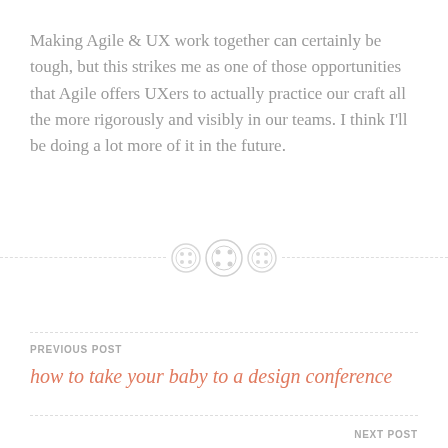Making Agile & UX work together can certainly be tough, but this strikes me as one of those opportunities that Agile offers UXers to actually practice our craft all the more rigorously and visibly in our teams. I think I'll be doing a lot more of it in the future.
[Figure (illustration): Three decorative button icons arranged horizontally, in light grey, with a dashed horizontal divider line running through them]
PREVIOUS POST
how to take your baby to a design conference
NEXT POST